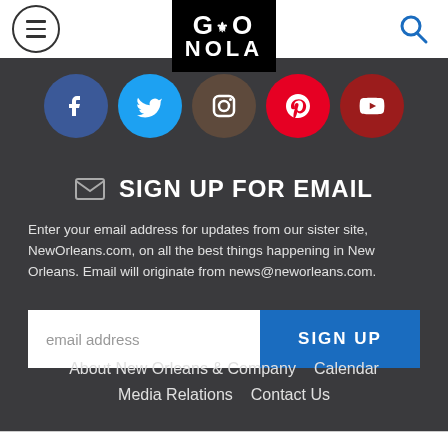[Figure (logo): GoNOLA logo in black box with fleur-de-lis symbol]
[Figure (infographic): Social media icons row: Facebook, Twitter, Instagram, Pinterest, YouTube]
SIGN UP FOR EMAIL
Enter your email address for updates from our sister site, NewOrleans.com, on all the best things happening in New Orleans. Email will originate from news@neworleans.com.
[Figure (screenshot): Email address input field with SIGN UP button]
About New Orleans & Company
Calendar
Media Relations
Contact Us